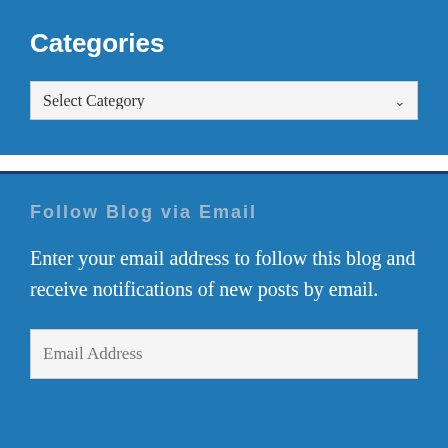Categories
Select Category
Follow Blog via Email
Enter your email address to follow this blog and receive notifications of new posts by email.
Email Address